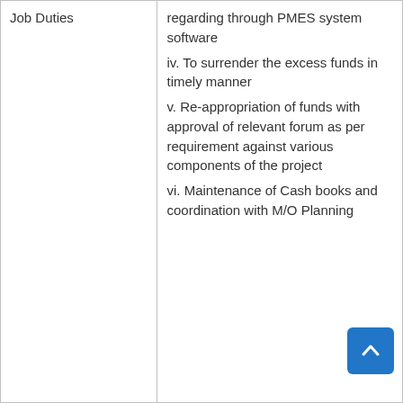regarding through PMES system software
iv. To surrender the excess funds in timely manner
v. Re-appropriation of funds with approval of relevant forum as per requirement against various components of the project
vi. Maintenance of Cash books and coordination with M/O Planning
Job Duties